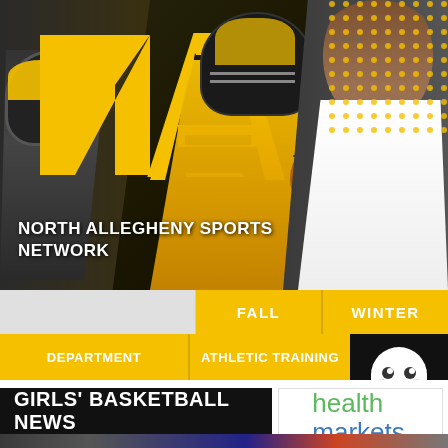[Figure (screenshot): North Allegheny Sports Network hero banner with gold and black NA logo, football player in gold jersey, female basketball player, athlete in helmet on left, gold dot pattern top right]
NORTH ALLEGHENY SPORTS NETWORK
FALL
WINTER
DEPARTMENT
ATHLETIC TRAINING
[Figure (photo): Ghost mascot advertisement on black background]
[Figure (logo): health markets logo with green and blue text]
GIRLS' BASKETBALL NEWS
[Figure (photo): Basketball court image at bottom of page]